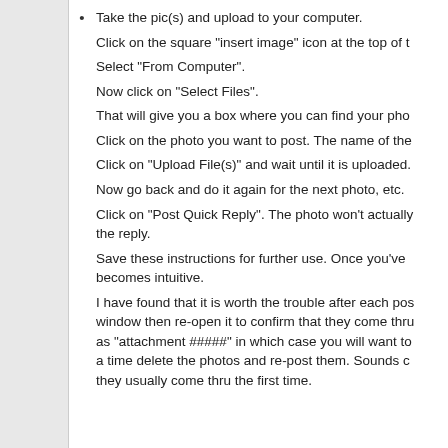Take the pic(s) and upload to your computer.
Click on the square "insert image" icon at the top of t
Select "From Computer".
Now click on "Select Files".
That will give you a box where you can find your pho
Click on the photo you want to post. The name of the
Click on "Upload File(s)" and wait until it is uploaded.
Now go back and do it again for the next photo, etc.
Click on "Post Quick Reply". The photo won't actually the reply.
Save these instructions for further use. Once you've becomes intuitive.
I have found that it is worth the trouble after each pos window then re-open it to confirm that they come thru as "attachment #####" in which case you will want to a time delete the photos and re-post them. Sounds c they usually come thru the first time.